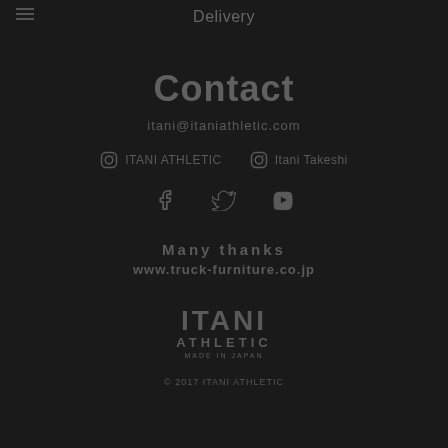Delivery
Contact
itani@itaniathletic.com
ITANI ATHLETIC   Itani Takeshi
[Figure (illustration): Facebook and Vimeo icons]
Many thanks
www.truck-furniture.co.jp
[Figure (logo): ITANI ATHLETIC MADE IN JAPAN logo]
© 2017 ITANI ATHLETIC